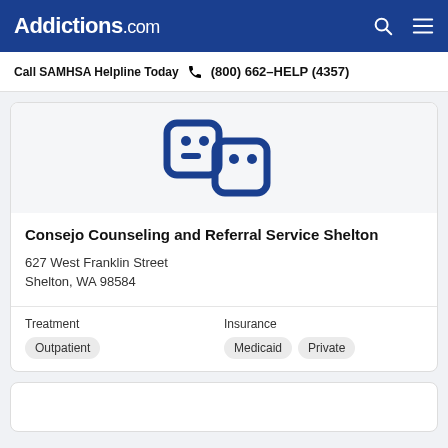Addictions.com
Call SAMHSA Helpline Today  (800) 662-HELP (4357)
[Figure (logo): Addictions.com or similar blue logo icon, two rectangles with a face/icon, dark blue on light background]
Consejo Counseling and Referral Service Shelton
627 West Franklin Street
Shelton, WA 98584
Treatment
Outpatient
Insurance
Medicaid  Private